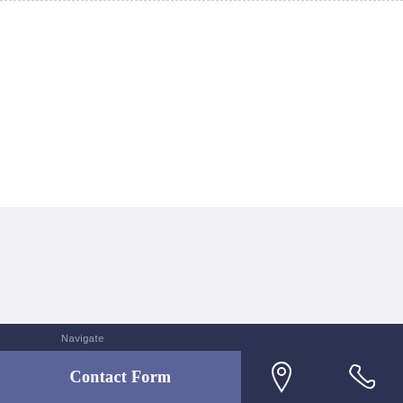Contact Form
[Figure (other): Location pin icon (outline, white) in dark navy footer bar]
[Figure (other): Phone handset icon (outline, white) in dark navy footer bar]